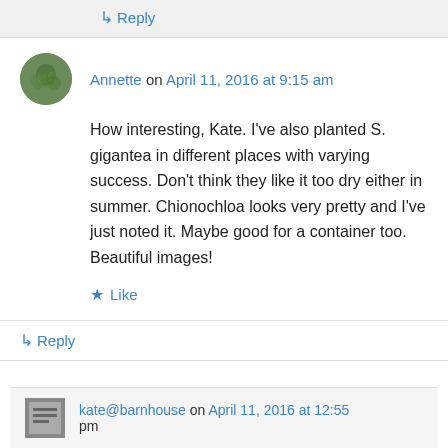↳ Reply
Annette on April 11, 2016 at 9:15 am
How interesting, Kate. I've also planted S. gigantea in different places with varying success. Don't think they like it too dry either in summer. Chionochloa looks very pretty and I've just noted it. Maybe good for a container too. Beautiful images!
★ Like
↳ Reply
kate@barnhouse on April 11, 2016 at 12:55 pm